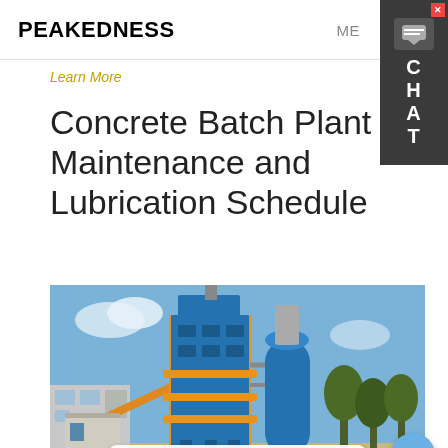PEAKEDNESS
Learn More
Concrete Batch Plant Maintenance and Lubrication Schedule
[Figure (photo): A large blue concrete batch plant / asphalt mixing tower with industrial equipment, metal scaffolding, a tall cylindrical silo, and surrounding trees and buildings, photographed outdoors under a blue sky.]
Hey, we are live 24/7. How may I help you?